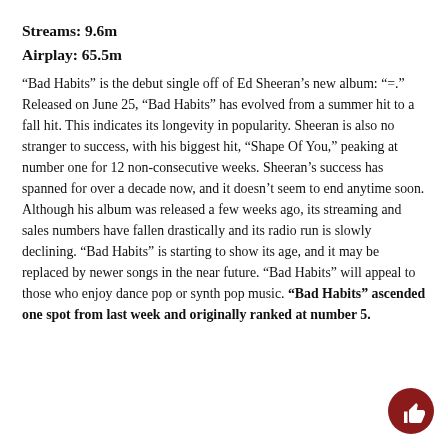Streams: 9.6m
Airplay: 65.5m
“Bad Habits” is the debut single off of Ed Sheeran’s new album: “=.” Released on June 25, “Bad Habits” has evolved from a summer hit to a fall hit. This indicates its longevity in popularity. Sheeran is also no stranger to success, with his biggest hit, “Shape Of You,” peaking at number one for 12 non-consecutive weeks. Sheeran’s success has spanned for over a decade now, and it doesn’t seem to end anytime soon. Although his album was released a few weeks ago, its streaming and sales numbers have fallen drastically and its radio run is slowly declining. “Bad Habits” is starting to show its age, and it may be replaced by newer songs in the near future. “Bad Habits” will appeal to those who enjoy dance pop or synth pop music. “Bad Habits” ascended one spot from last week and originally ranked at number 5.
[Figure (illustration): Dark red circle with a thumbs-up icon in white, positioned in the bottom right corner.]